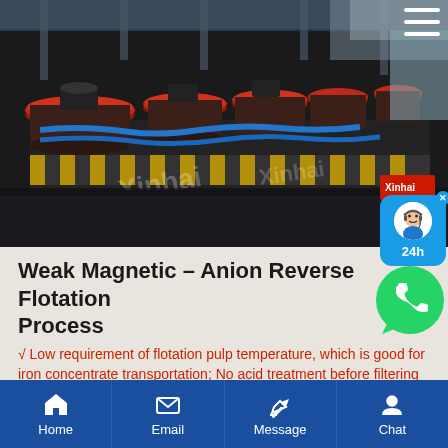[Figure (photo): Industrial flotation machinery in a factory setting — rows of large red circular flotation machines with blue pipes along a production line. Xinhai branding visible on equipment.]
Weak Magnetic – Anion Reverse Flotation Process
√ Low requirement of flotation pulp temperature, which is good for iron concentrate transportation; No acid treatment before filtering
Home | Email | Message | Chat